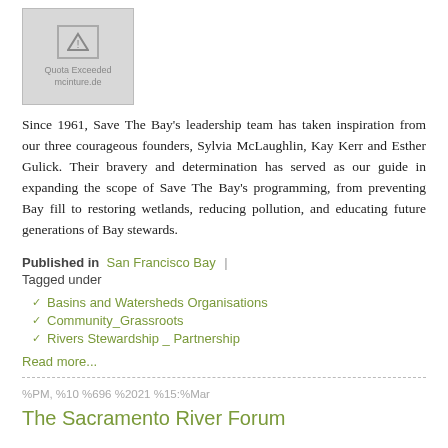[Figure (other): Image placeholder with warning triangle icon, showing 'Quota Exceeded' and 'mcinture.de' text]
Since 1961, Save The Bay's leadership team has taken inspiration from our three courageous founders, Sylvia McLaughlin, Kay Kerr and Esther Gulick. Their bravery and determination has served as our guide in expanding the scope of Save The Bay's programming, from preventing Bay fill to restoring wetlands, reducing pollution, and educating future generations of Bay stewards.
Published in  San Francisco Bay  |  Tagged under
Basins and Watersheds Organisations
Community_Grassroots
Rivers Stewardship _ Partnership
Read more...
%PM, %10 %696 %2021 %15:%Mar
The Sacramento River Forum